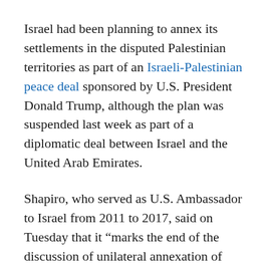Israel had been planning to annex its settlements in the disputed Palestinian territories as part of an Israeli-Palestinian peace deal sponsored by U.S. President Donald Trump, although the plan was suspended last week as part of a diplomatic deal between Israel and the United Arab Emirates.
Shapiro, who served as U.S. Ambassador to Israel from 2011 to 2017, said on Tuesday that it “marks the end of the discussion of unilateral annexation of parts of the West Bank.”
Biden’s victory would then be an opportunity to “shelve” other parts of the Trump plan, Shapiro